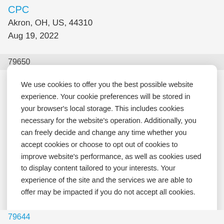CPC
Akron, OH, US, 44310
Aug 19, 2022
79650
We use cookies to offer you the best possible website experience. Your cookie preferences will be stored in your browser's local storage. This includes cookies necessary for the website's operation. Additionally, you can freely decide and change any time whether you accept cookies or choose to opt out of cookies to improve website's performance, as well as cookies used to display content tailored to your interests. Your experience of the site and the services we are able to offer may be impacted if you do not accept all cookies.
Modify Cookie Preferences
Accept All Cookies
79644